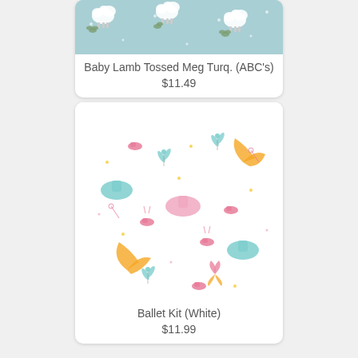[Figure (photo): Baby Lamb Tossed fabric pattern on teal/turquoise background with white lambs and floral elements]
Baby Lamb Tossed Meg Turq. (ABC's)
$11.49
[Figure (photo): Ballet Kit fabric pattern on white background with colorful ballet shoes, tutus, dragonflies, and dance accessories in pink, teal, and orange]
Ballet Kit (White)
$11.99